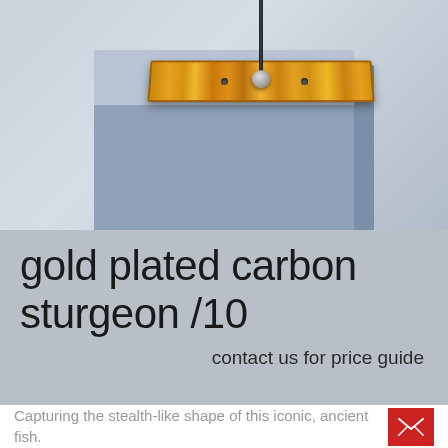[Figure (photo): Photo of a gold-plated carbon plank/board mounted on a light blue pedestal with a thin black rod/antenna inserted vertically into the center of the plank via a metal connector]
gold plated carbon sturgeon /10
contact us for price guide
Capturing the stealth-like shape of this iconic, ancient fish.